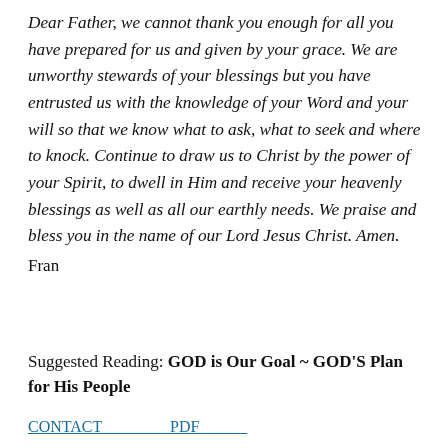Dear Father, we cannot thank you enough for all you have prepared for us and given by your grace. We are unworthy stewards of your blessings but you have entrusted us with the knowledge of your Word and your will so that we know what to ask, what to seek and where to knock. Continue to draw us to Christ by the power of your Spirit, to dwell in Him and receive your heavenly blessings as well as all our earthly needs. We praise and bless you in the name of our Lord Jesus Christ. Amen.
Fran
Suggested Reading: GOD is Our Goal ~ GOD'S Plan for His People
CONTACT...